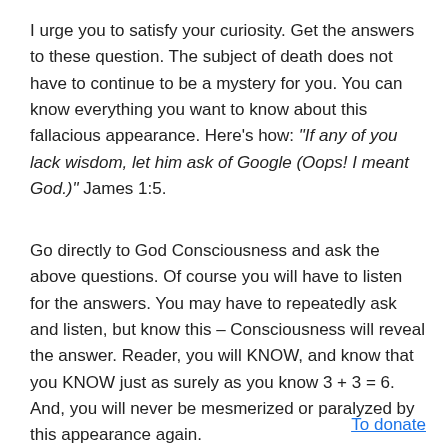I urge you to satisfy your curiosity. Get the answers to these question. The subject of death does not have to continue to be a mystery for you. You can know everything you want to know about this fallacious appearance. Here's how: "If any of you lack wisdom, let him ask of Google (Oops! I meant God.)" James 1:5.
Go directly to God Consciousness and ask the above questions. Of course you will have to listen for the answers. You may have to repeatedly ask and listen, but know this – Consciousness will reveal the answer. Reader, you will KNOW, and know that you KNOW just as surely as you know 3 + 3 = 6. And, you will never be mesmerized or paralyzed by this appearance again.
To donate